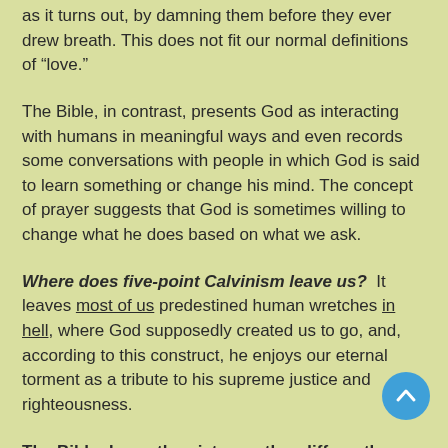as it turns out, by damning them before they ever drew breath. This does not fit our normal definitions of “love.”
The Bible, in contrast, presents God as interacting with humans in meaningful ways and even records some conversations with people in which God is said to learn something or change his mind. The concept of prayer suggests that God is sometimes willing to change what he does based on what we ask.
Where does five-point Calvinism leave us? It leaves most of us predestined human wretches in hell, where God supposedly created us to go, and, according to this construct, he enjoys our eternal torment as a tribute to his supreme justice and righteousness.
The Bible draws the picture rather differently, thank God. It might be a good idea for us to draw our picture from the Bible, instead of reading the Bible with our